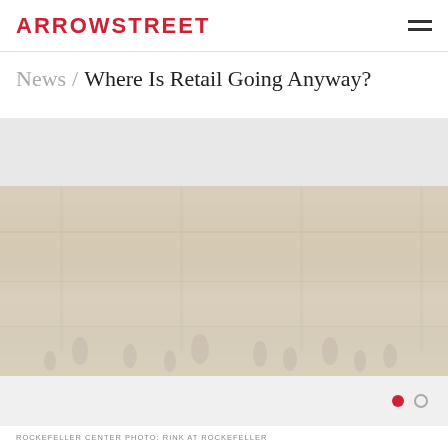ARROWSTREET
News / Where Is Retail Going Anyway?
[Figure (photo): Faded photograph of a busy retail space/shopping center with crowds of people, appearing to be Rockefeller Center. Image is washed out with light overlay.]
ROCKEFELLER CENTER PHOTO: RINK AT ROCKEFELLER